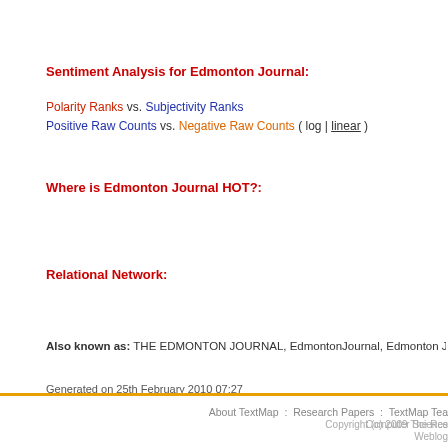Sentiment Analysis for Edmonton Journal:
Polarity Ranks vs. Subjectivity Ranks
Positive Raw Counts vs. Negative Raw Counts ( log | linear )
Where is Edmonton Journal HOT?:
Relational Network:
Also known as: THE EDMONTON JOURNAL, EdmontonJournal, Edmonton Journal., Edmo...
Generated on 25th February 2010 07:27
About TextMap : Research Papers : TextMap Tea...  Copyright (c) 2009 The Res... Computer Science... Weblog